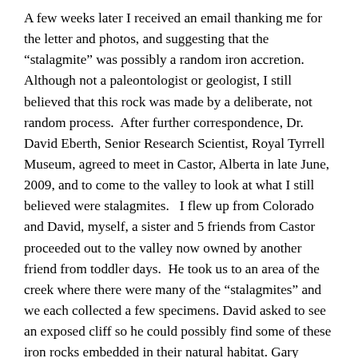A few weeks later I received an email thanking me for the letter and photos, and suggesting that the “stalagmite” was possibly a random iron accretion. Although not a paleontologist or geologist, I still believed that this rock was made by a deliberate, not random process.  After further correspondence, Dr. David Eberth, Senior Research Scientist, Royal Tyrrell Museum, agreed to meet in Castor, Alberta in late June, 2009, and to come to the valley to look at what I still believed were stalagmites.   I flew up from Colorado and David, myself, a sister and 5 friends from Castor proceeded out to the valley now owned by another friend from toddler days.  He took us to an area of the creek where there were many of the “stalagmites” and we each collected a few specimens. David asked to see an exposed cliff so he could possibly find some of these iron rocks embedded in their natural habitat. Gary Dunkle, the land owner, duly took us to such an embankment and David found a few of the